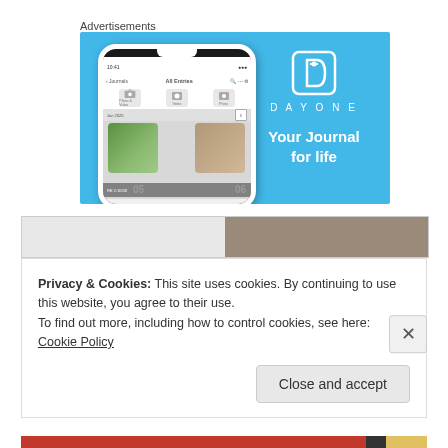Advertisements
[Figure (screenshot): DayOne app advertisement banner on a light blue background, showing a phone mockup with the app UI on the left, and the DayOne logo with text 'Your Journal for life' on the right.]
[Figure (photo): Partial website screenshot showing a bar with light and dark sections at the top of a content area.]
Privacy & Cookies: This site uses cookies. By continuing to use this website, you agree to their use.
To find out more, including how to control cookies, see here: Cookie Policy
Close and accept